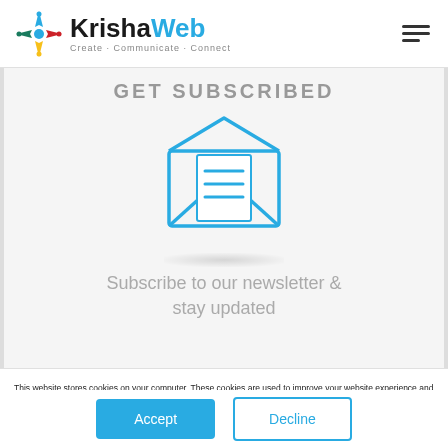KrishaWeb – Create · Communicate · Connect
GET SUBSCRIBED
[Figure (illustration): Dark speech bubble icon with a speaker/sound symbol inside]
[Figure (illustration): Open envelope icon in teal/blue color with horizontal lines representing a letter inside]
Subscribe to our newsletter & stay updated
This website stores cookies on your computer. These cookies are used to improve your website experience and provide more personalized services to you, both on this website and through other media. To find out more about the cookies we use, see our Privacy Policy.
Accept
Decline